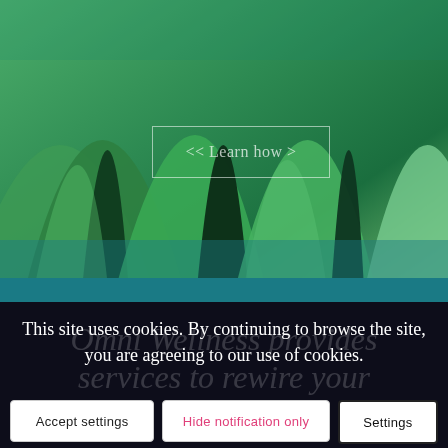[Figure (photo): Close-up photograph of overlapping green agave or aloe plant leaves with dark center grooves, green and teal tones]
Learn how >
This site uses cookies. By continuing to browse the site, you are agreeing to our use of cookies.
Accept settings
Hide notification only
Settings